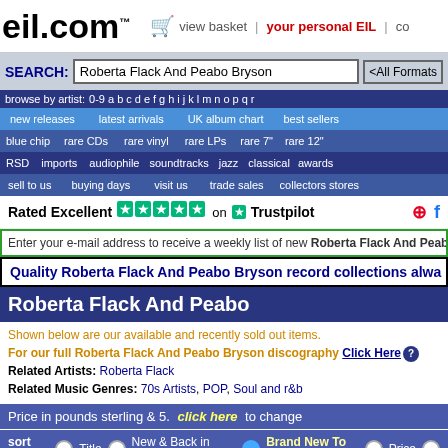eil.com
view basket | your personal EIL
SEARCH: Roberta Flack And Peabo Bryson <All Formats>
browse by artist: 0-9 a b c d e f g h i j k l m n o p q r
new releases | latest arrivals | UK album chart | best sellers
blue chip | rare CDs | rare vinyl | rare LPs | rare 7" | rare 12"
RSD | imports | audiophile | soundtracks | jazz | classical | awards
sell to us | buying days | visit us | trade sales | collectors stores
[Figure (logo): Trustpilot rated excellent with 5 stars]
Enter your e-mail address to receive a weekly list of new Roberta Flack And Peabo Bryson items
Quality Roberta Flack And Peabo Bryson record collections alwa...
Roberta Flack And Peabo
Shown below are our available and recently sold out items.
For our full Roberta Flack And Peabo Bryson discography Click Here
Related Artists: Roberta Flack
Related Music Genres: 70s Artists, POP, Soul and r&b
Price in pounds sterling & 5. click here to change
sort by: Title | New & Back in Stock | Brand New To Us | Price